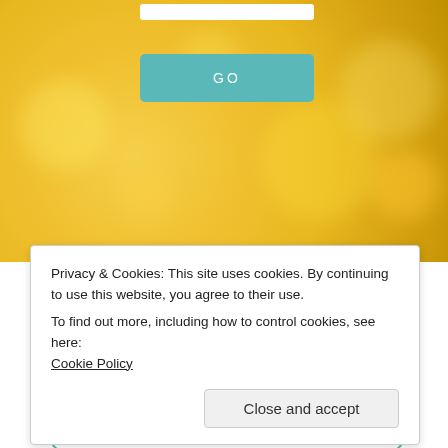[Figure (screenshot): Gold bokeh background banner with a teal GO button]
[Figure (infographic): Row of four teal circular social media icons: Facebook, Instagram, Pinterest, Twitter]
[Figure (screenshot): Partial profile card with teal border and dark avatar circle at top]
Privacy & Cookies: This site uses cookies. By continuing to use this website, you agree to their use. To find out more, including how to control cookies, see here: Cookie Policy
Close and accept